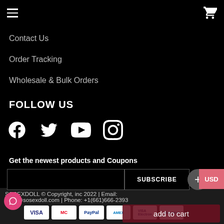≡  🛒
Contact Us
Order Tracking
Wholesale & Bulk Orders
FOLLOW US
[Figure (other): Social media icons: Facebook, Twitter, YouTube, Instagram]
Get the newest products and Coupons
[Figure (other): Email subscription form with input field and SUBSCRIBE button. USD currency button visible on right. Plus circle button.]
SOSEXDOLL © Copyright, inc 2022 | Email: rvice@sosexdoll.com | Phone: +1(661)666-2393
[Figure (other): Payment method icons: VISA, MasterCard, PayPal, American Express, VISA Electron, Maestro]